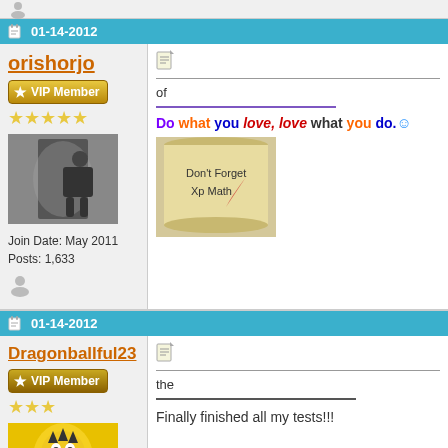01-14-2012
orishorjo
VIP Member
Join Date: May 2011
Posts: 1,633
of
Do what you love, love what you do. 😊
[Figure (photo): Scroll image with text 'Don't Forget Xp Math']
01-14-2012
Dragonballful23
VIP Member
[Figure (photo): Dragon Ball character artwork]
the
Finally finished all my tests!!!

I am ekko main now ^_^

(ign: supersaiyan2363)